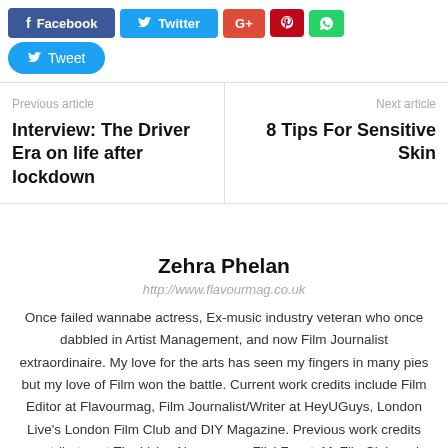[Figure (other): Social share buttons row: Facebook (blue), Twitter (light blue), Google+ (red), Pinterest (dark red), WhatsApp (green)]
[Figure (other): Tweet button (rounded, blue)]
Previous article
Interview: The Driver Era on life after lockdown
Next article
8 Tips For Sensitive Skin
Zehra Phelan
http://www.flavourmag.co.uk
Once failed wannabe actress, Ex-music industry veteran who once dabbled in Artist Management, and now Film Journalist extraordinaire. My love for the arts has seen my fingers in many pies but my love of Film won the battle. Current work credits include Film Editor at Flavourmag, Film Journalist/Writer at HeyUGuys, London Live's London Film Club and DIY Magazine. Previous work credits contributes at The Voice Newspaper, FlickFeast, MyFilmClub and film